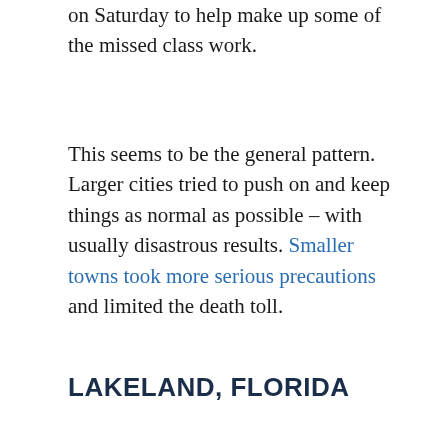on Saturday to help make up some of the missed class work.
This seems to be the general pattern. Larger cities tried to push on and keep things as normal as possible – with usually disastrous results. Smaller towns took more serious precautions and limited the death toll.
LAKELAND, FLORIDA
And then there's Lakeland, Florida,